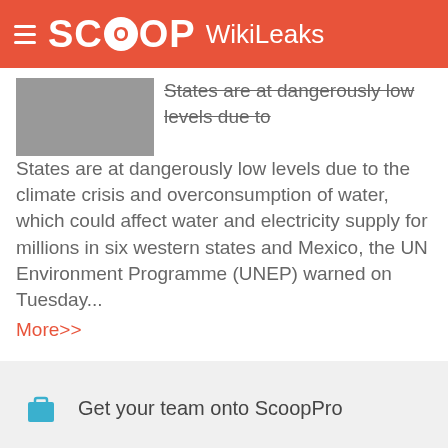SCOOP WikiLeaks
States are at dangerously low levels due to the climate crisis and overconsumption of water, which could affect water and electricity supply for millions in six western states and Mexico, the UN Environment Programme (UNEP) warned on Tuesday...
More>>
Get your team onto ScoopPro
Submit News / Press Releases
ScoopCitizen / Become a Supporter